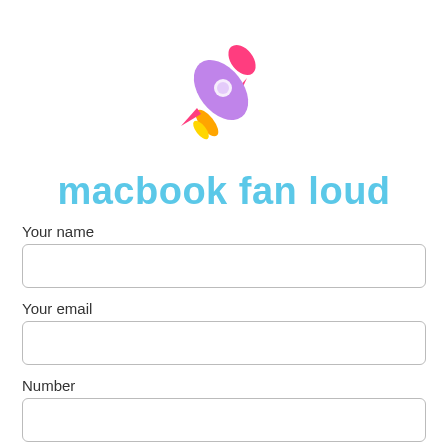[Figure (illustration): A cartoon rocket emoji flying upward to the right, with a purple body, pink fins, white window, and orange/yellow flame exhaust.]
macbook fan loud
Your name
Your email
Number